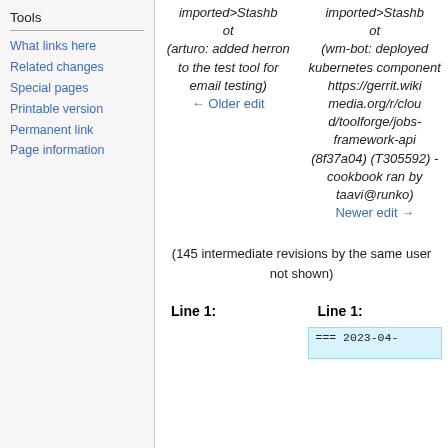Tools
What links here
Related changes
Special pages
Printable version
Permanent link
Page information
| Left | Right |
| --- | --- |
| imported>Stashbot
(arturo: added herron to the test tool for email testing)
← Older edit | imported>Stashbot
(wm-bot: deployed kubernetes component https://gerrit.wikimedia.org/r/cloud/toolforge/jobs-framework-api (8f37a04) (T305592) - cookbook ran by taavi@runko)
Newer edit → |
(145 intermediate revisions by the same user not shown)
Line 1:	Line 1:
=== 2023-04-...